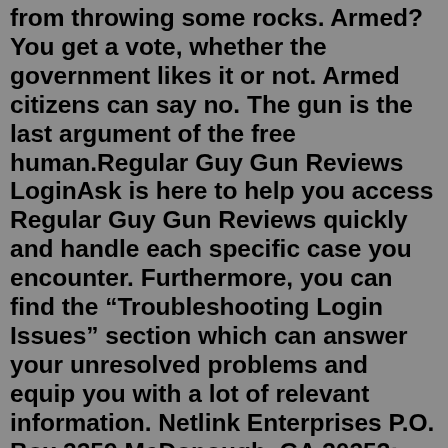from throwing some rocks. Armed? You get a vote, whether the government likes it or not. Armed citizens can say no. The gun is the last argument of the free human.Regular Guy Gun Reviews LoginAsk is here to help you access Regular Guy Gun Reviews quickly and handle each specific case you encounter. Furthermore, you can find the “Troubleshooting Login Issues” section which can answer your unresolved problems and equip you with a lot of relevant information. Netlink Enterprises P.O. Box 2259 McDonough, GA 30253; Call us now : 1-866-321-0340; cs@netlinkent.com; Contact Us About regularguyguns.com - a firearms blog for the regular guy and girl. Advice, news, and more about firearms from the perspective of a regular guy. regular guy guns - a firearms blog by a regular guy Home About Safety Resources GUNS 101 SHOP Gun & Ammo Deals; Gun & Ammo Deals. Palmetto State Armory’s Daily Deals aim to provide our customers with new products and best sellers at amazing prices. Daily Deal product offerings include PSA’s American Made